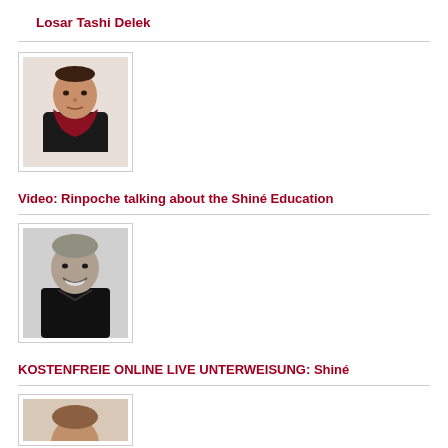Losar Tashi Delek
[Figure (photo): Portrait photo of a person wearing dark clothing with a red/maroon scarf, seated, with light background]
Video: Rinpoche talking about the Shiné Education
[Figure (photo): Black and white portrait photo of a smiling bald person wearing dark clothing]
KOSTENFREIE ONLINE LIVE UNTERWEISUNG: Shiné
[Figure (photo): Partial portrait photo, cropped at bottom of page]